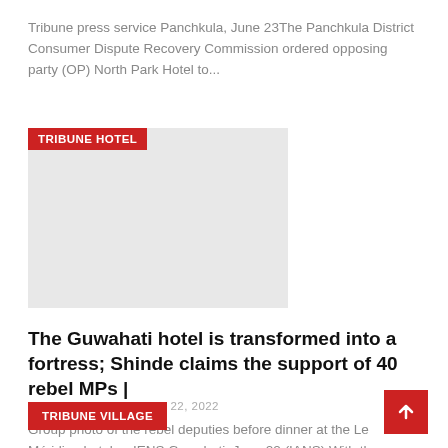Tribune press service Panchkula, June 23The Panchkula District Consumer Dispute Recovery Commission ordered opposing party (OP) North Park Hotel to...
[Figure (other): Image placeholder with red TRIBUNE HOTEL label badge in top-left corner, grey rectangle image area]
The Guwahati hotel is transformed into a fortress; Shinde claims the support of 40 rebel MPs |
JAMES D. JONES • Jun 22, 2022
Group photo of the rebel deputies before dinner at the Le Méridien hotel. -- IENS Guwahati, June 22 (IANS) With the deployment...
TRIBUNE VILLAGE
[Figure (other): Red scroll-to-top button with white arrow icon]